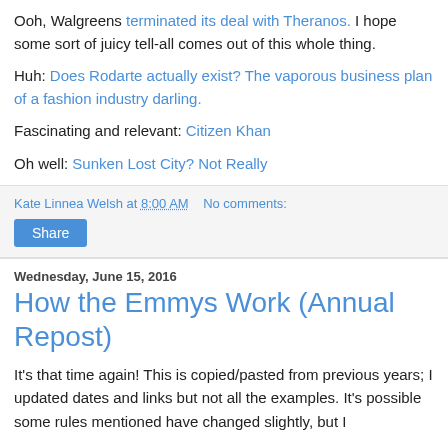Ooh, Walgreens terminated its deal with Theranos. I hope some sort of juicy tell-all comes out of this whole thing.
Huh: Does Rodarte actually exist? The vaporous business plan of a fashion industry darling.
Fascinating and relevant: Citizen Khan
Oh well: Sunken Lost City? Not Really
Kate Linnea Welsh at 8:00 AM    No comments:
Share
Wednesday, June 15, 2016
How the Emmys Work (Annual Repost)
It's that time again! This is copied/pasted from previous years; I updated dates and links but not all the examples. It's possible some rules mentioned have changed slightly, but I